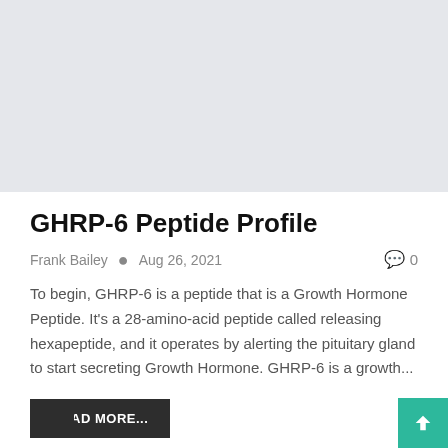[Figure (photo): Light gray placeholder image at the top of the article card]
GHRP-6 Peptide Profile
Frank Bailey • Aug 26, 2021  0
To begin, GHRP-6 is a peptide that is a Growth Hormone Peptide. It's a 28-amino-acid peptide called releasing hexapeptide, and it operates by alerting the pituitary gland to start secreting Growth Hormone. GHRP-6 is a growth...
READ MORE...